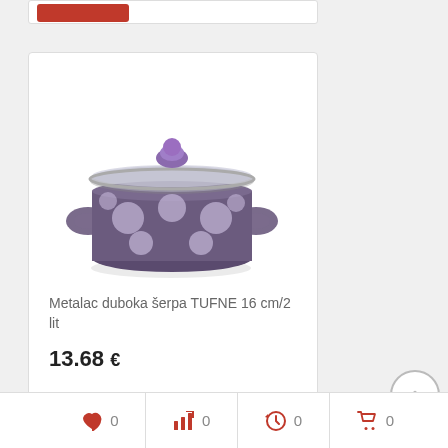[Figure (photo): Purple polka-dot cooking pot with glass lid and purple knob]
Metalac duboka šerpa TUFNE 16 cm/2 lit
13.68 €
Add to cart
0 0 0 0